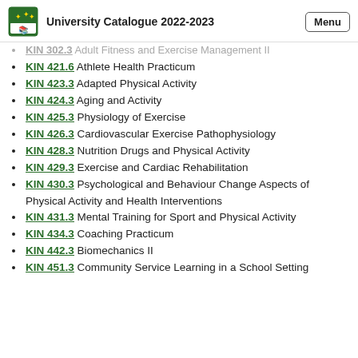University Catalogue 2022-2023
KIN 302.3 Adult Fitness and Exercise Management II
KIN 421.6 Athlete Health Practicum
KIN 423.3 Adapted Physical Activity
KIN 424.3 Aging and Activity
KIN 425.3 Physiology of Exercise
KIN 426.3 Cardiovascular Exercise Pathophysiology
KIN 428.3 Nutrition Drugs and Physical Activity
KIN 429.3 Exercise and Cardiac Rehabilitation
KIN 430.3 Psychological and Behaviour Change Aspects of Physical Activity and Health Interventions
KIN 431.3 Mental Training for Sport and Physical Activity
KIN 434.3 Coaching Practicum
KIN 442.3 Biomechanics II
KIN 451.3 Community Service Learning in a School Setting